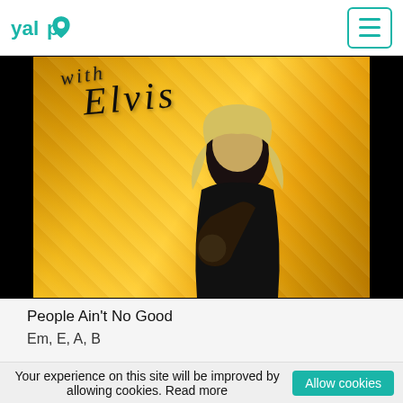yalp
[Figure (photo): Album artwork showing a blonde woman in black lingerie posing on gold/yellow satin fabric with cursive 'with Elvis' text overlay]
People Ain't No Good
Em, E, A, B
Your experience on this site will be improved by allowing cookies. Read more
Allow cookies